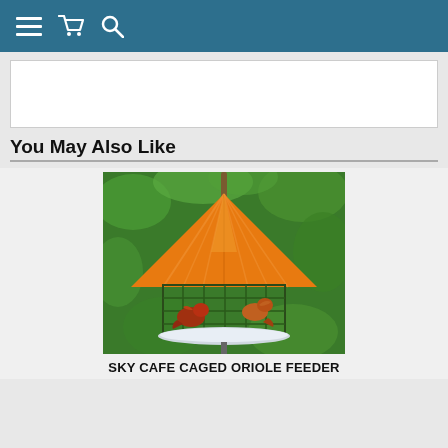Navigation bar with menu, cart, and search icons
[Figure (screenshot): White advertisement banner area]
You May Also Like
[Figure (photo): Sky Cafe Caged Oriole Feeder — an orange conical-roofed wire cage bird feeder hanging from a pole, with two oriole birds perched inside, surrounded by green foliage]
SKY CAFE CAGED ORIOLE FEEDER